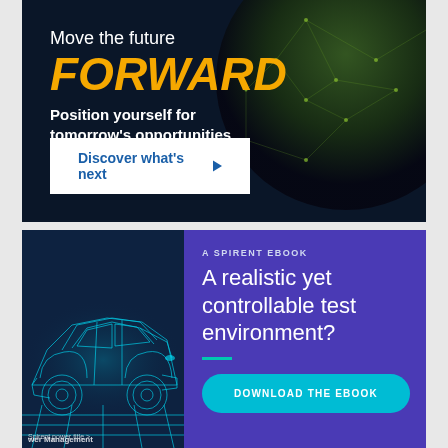[Figure (illustration): Dark blue advertisement banner with globe/earth graphic in background. Text reads 'Move the future FORWARD - Position yourself for tomorrow's opportunities' with a 'Discover what's next' button. FORWARD is in large yellow/gold italic bold text.]
[Figure (illustration): Advertisement for a Spirent eBook split into two panels. Left panel shows a glowing cyan wireframe/digital car on dark blue background with 'Power Management' text. Right panel has purple background with text 'A SPIRENT EBOOK - A realistic yet controllable test environment?' with teal divider and cyan 'DOWNLOAD THE EBOOK' button.]